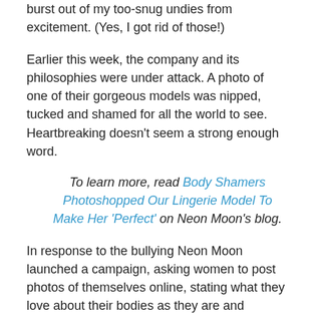burst out of my too-snug undies from excitement. (Yes, I got rid of those!)
Earlier this week, the company and its philosophies were under attack. A photo of one of their gorgeous models was nipped, tucked and shamed for all the world to see. Heartbreaking doesn’t seem a strong enough word.
To learn more, read Body Shamers Photoshopped Our Lingerie Model To Make Her ‘Perfect’ on Neon Moon’s blog.
In response to the bullying Neon Moon launched a campaign, asking women to post photos of themselves online, stating what they love about their bodies as they are and including the hashtag #moonbodylove.
That is how we better the world—by standing up in the